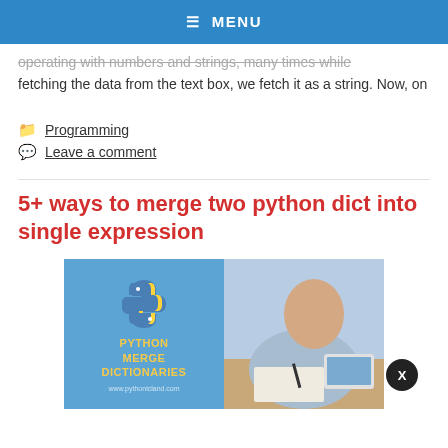≡ MENU
operating with numbers and strings, many times while fetching the data from the text box, we fetch it as a string. Now, on
Programming
Leave a comment
5+ ways to merge two python dict into single expression
[Figure (illustration): Image showing Python Merge Dictionaries tutorial with Python logo on blue background on the left, and a person writing at a laptop on the right. A dark circular close button with 'X' is visible at bottom right.]